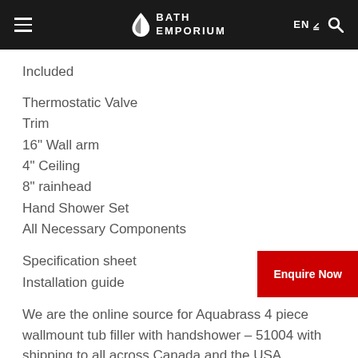BATH EMPORIUM
Included
Thermostatic Valve
Trim
16" Wall arm
4" Ceiling
8" rainhead
Hand Shower Set
All Necessary Components
Specification sheet
Installation guide
We are the online source for Aquabrass 4 piece wallmount tub filler with handshower – 51004 with shipping to all across Canada and the USA